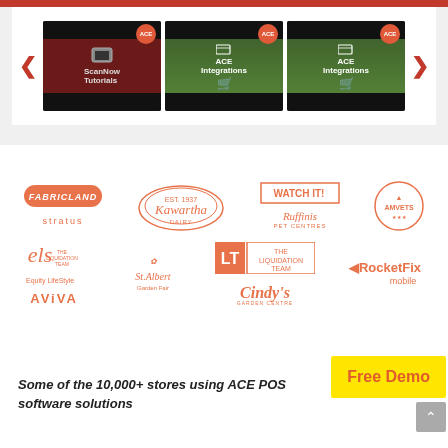[Figure (screenshot): Carousel showing ScanNow Tutorials and ACE Integrations thumbnails with navigation arrows]
[Figure (illustration): Grid of partner/client logos in salmon/orange color: Fabricland, stratus, Kawartha Dairy, WATCH IT!, Ruffini's Pet Centres, AMVETS, els Equity LifeStyle Properties, Aviva, St. Albert Garden Fair, The Liquidation Team, Cindy's Garden Centre, RocketFix mobile]
Some of the 10,000+ stores using ACE POS software solutions
[Figure (other): Free Demo yellow button]